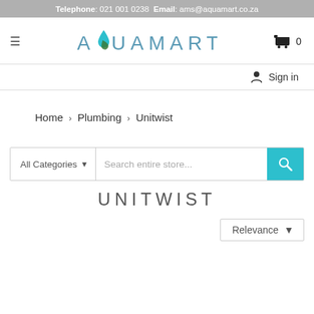Telephone: 021 001 0238  Email: ams@aquamart.co.za
[Figure (logo): Aquamart logo with water droplet icon and text AQUAMART in blue letters]
Sign in
Home > Plumbing > Unitwist
All Categories  Search entire store...
UNITWIST
Relevance